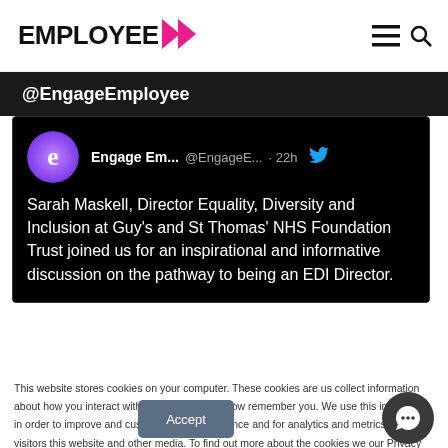EMPLOYEE >
@EngageEmployee
[Figure (screenshot): Tweet from Engage Em... @EngageE... · 22h: Sarah Maskell, Director Equality, Diversity and Inclusion at Guy's and St Thomas' NHS Foundation Trust joined us for an inspirational and informative discussion on the pathway to being an EDI Director.]
This website stores cookies on your computer. These cookies are used to collect information about how you interact with our website and allow us to remember you. We use this information in order to improve and customize your browsing experience and for analytics and metrics about our visitors both on this website and other media. To find out more about the cookies we use, see our Privacy Policy